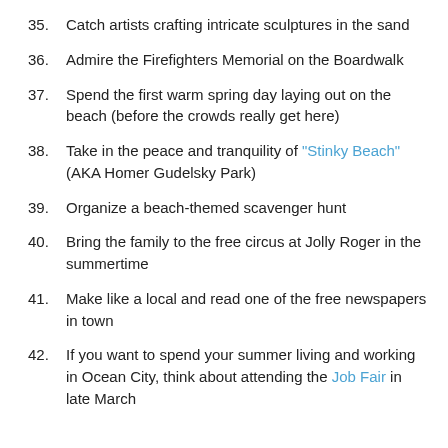35. Catch artists crafting intricate sculptures in the sand
36. Admire the Firefighters Memorial on the Boardwalk
37. Spend the first warm spring day laying out on the beach (before the crowds really get here)
38. Take in the peace and tranquility of “Stinky Beach” (AKA Homer Gudelsky Park)
39. Organize a beach-themed scavenger hunt
40. Bring the family to the free circus at Jolly Roger in the summertime
41. Make like a local and read one of the free newspapers in town
42. If you want to spend your summer living and working in Ocean City, think about attending the Job Fair in late March